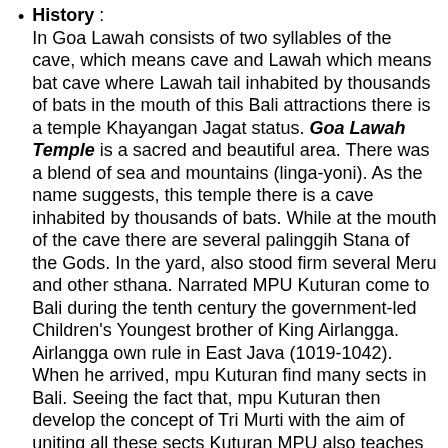History : In Goa Lawah consists of two syllables of the cave, which means cave and Lawah which means bat cave where Lawah tail inhabited by thousands of bats in the mouth of this Bali attractions there is a temple Khayangan Jagat status. Goa Lawah Temple is a sacred and beautiful area. There was a blend of sea and mountains (linga-yoni). As the name suggests, this temple there is a cave inhabited by thousands of bats. While at the mouth of the cave there are several palinggih Stana of the Gods. In the yard, also stood firm several Meru and other sthana. Narrated MPU Kuturan come to Bali during the tenth century the government-led Children's Youngest brother of King Airlangga. Airlangga own rule in East Java (1019-1042). When he arrived, mpu Kuturan find many sects in Bali. Seeing the fact that, mpu Kuturan then develop the concept of Tri Murti with the aim of uniting all these sects Kuturan MPU also teaches making heaven